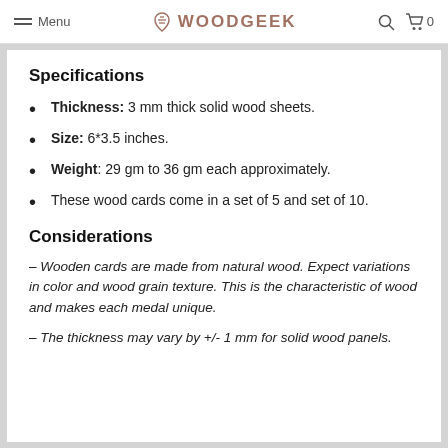Menu | WOODGEEK
Specifications
Thickness: 3 mm thick solid wood sheets.
Size: 6*3.5 inches.
Weight: 29 gm to 36 gm each approximately.
These wood cards come in a set of 5 and set of 10.
Considerations
– Wooden cards are made from natural wood. Expect variations in color and wood grain texture. This is the characteristic of wood and makes each medal unique.
– The thickness may vary by +/- 1 mm for solid wood panels.